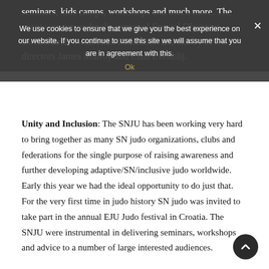seminars, kids camps, workshops and much more. The event was run under the aspics of Special Olympics Switzerland, Swiss Judo Federation and run by SNJU directors James Mulroy and Cilia Evenblij.
We use cookies to ensure that we give you the best experience on our website. If you continue to use this site we will assume that you are in agreement with this. Ok
Unity and Inclusion: The SNJU has been working very hard to bring together as many SN judo organizations, clubs and federations for the single purpose of raising awareness and further developing adaptive/SN/inclusive judo worldwide. Early this year we had the ideal opportunity to do just that. For the very first time in judo history SN judo was invited to take part in the annual EJU Judo festival in Croatia. The SNJU were instrumental in delivering seminars, workshops and advice to a number of large interested audiences.